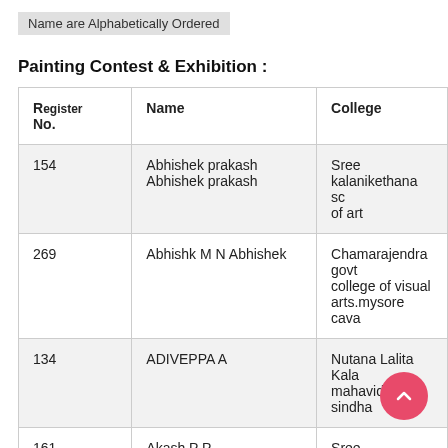Name are Alphabetically Ordered
Painting Contest & Exhibition :
| Register No. | Name | College |
| --- | --- | --- |
| 154 | Abhishek prakash Abhishek prakash | Sree kalanikethana sc of art |
| 269 | Abhishk M N Abhishek | Chamarajendra govt college of visual arts.mysore cava |
| 134 | ADIVEPPA A | Nutana Lalita Kala mahavidyalaya sindha |
| 161 | Akash P P | Sree Shankaracharya university of sanskrith |